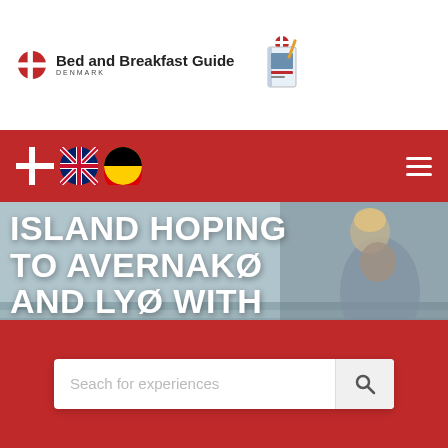[Figure (logo): Bed and Breakfast Guide Denmark logo with Danish flag icon and book image]
[Figure (screenshot): Red navigation bar with Danish, UK, and German flag icons on left and hamburger menu icon on right]
[Figure (photo): Hero image of a man carrying a child on his shoulders at a beach, with large white text overlay reading ISLAND HOPING TO AVERNAKØ AND LYØ WITH]
ISLAND HOPING TO AVERNAKØ AND LYØ WITH
[Figure (screenshot): Red bottom bar with white search box containing placeholder text 'Seach for experiences' and a search icon button]